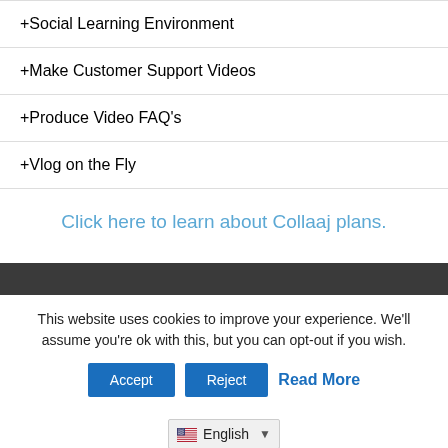+ Social Learning Environment
+ Make Customer Support Videos
+ Produce Video FAQ's
+ Vlog on the Fly
Click here to learn about Collaaj plans.
This website uses cookies to improve your experience. We'll assume you're ok with this, but you can opt-out if you wish.
Accept | Reject | Read More
English